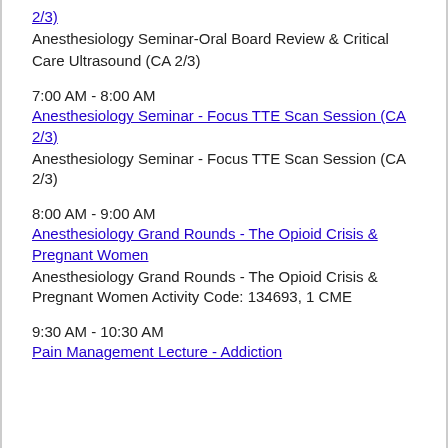2/3)
Anesthesiology Seminar-Oral Board Review & Critical Care Ultrasound (CA 2/3)
7:00 AM - 8:00 AM
Anesthesiology Seminar - Focus TTE Scan Session (CA 2/3)
Anesthesiology Seminar - Focus TTE Scan Session (CA 2/3)
8:00 AM - 9:00 AM
Anesthesiology Grand Rounds - The Opioid Crisis & Pregnant Women
Anesthesiology Grand Rounds - The Opioid Crisis & Pregnant Women Activity Code: 134693, 1 CME
9:30 AM - 10:30 AM
Pain Management Lecture - Addiction